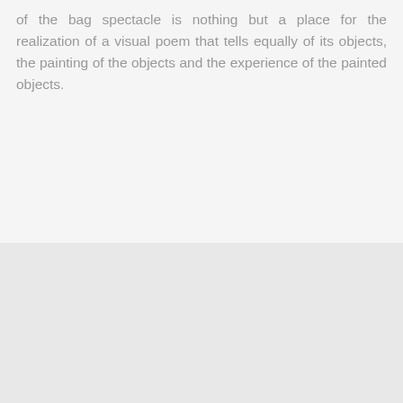of the bag spectacle is nothing but a place for the realization of a visual poem that tells equally of its objects, the painting of the objects and the experience of the painted objects.